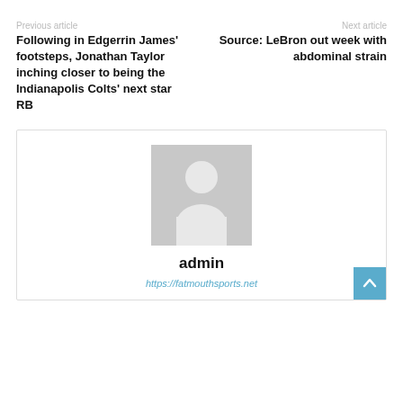Previous article
Next article
Following in Edgerrin James' footsteps, Jonathan Taylor inching closer to being the Indianapolis Colts' next star RB
Source: LeBron out week with abdominal strain
[Figure (illustration): Generic user avatar placeholder - grey silhouette of a person on grey background]
admin
https://fatmouthsports.net